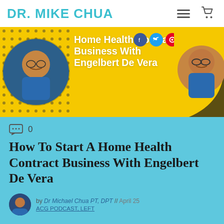DR. MIKE CHUA
[Figure (illustration): Podcast episode banner with yellow dotted background showing two portrait photos (Dr. Mike Chua and Engelbert De Vera), white bold title text 'Home Health Contract Business With Engelbert De Vera', and social media icons (Facebook, Twitter, Pinterest)]
How To Start A Home Health Contract Business With Engelbert De Vera
by Dr Michael Chua PT, DPT // April 25
ACG PODCAST, LEFT